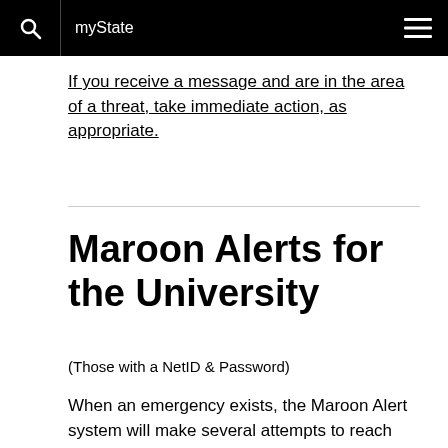myState
If you receive a message and are in the area of a threat, take immediate action, as appropriate.
Maroon Alerts for the University
(Those with a NetID & Password)
When an emergency exists, the Maroon Alert system will make several attempts to reach you. When you receive a notification, take appropriate